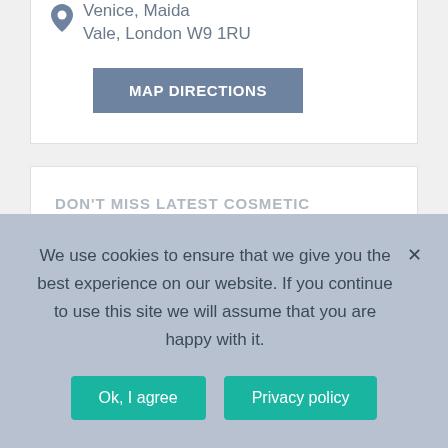Venice, Maida Vale, London W9 1RU
MAP DIRECTIONS
DON'T MISS LATEST COSMETIC
We use cookies to ensure that we give you the best experience on our website. If you continue to use this site we will assume that you are happy with it.
Ok, I agree
Privacy policy